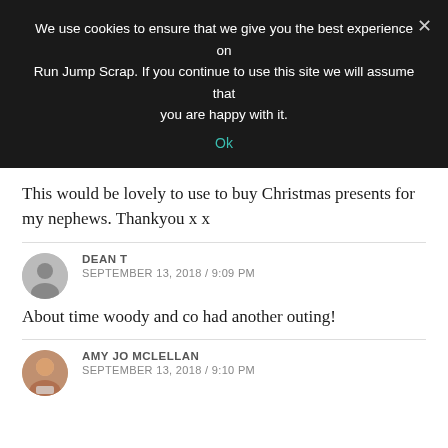We use cookies to ensure that we give you the best experience on Run Jump Scrap. If you continue to use this site we will assume that you are happy with it.
Ok
This would be lovely to use to buy Christmas presents for my nephews. Thankyou x x
DEAN T
SEPTEMBER 13, 2018 / 9:09 PM
About time woody and co had another outing!
AMY JO MCLELLAN
SEPTEMBER 13, 2018 / 9:10 PM